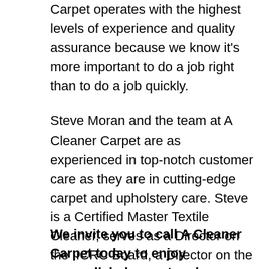Carpet operates with the highest levels of experience and quality assurance because we know it's more important to do a job right than to do a job quickly.
Steve Moran and the team at A Cleaner Carpet are as experienced in top-notch customer care as they are in cutting-edge carpet and upholstery care. Steve is a Certified Master Textile Cleaner, serves as a Director on the IICRC Board, a Director on the ICRA Board, is a Past President of the Professional Carpet and Upholstery Cleaners Association (PCUCA), Past Chair of Education PCUCA.
We invite you to call A Cleaner Carpet today to enjoy unparalleled carpet and